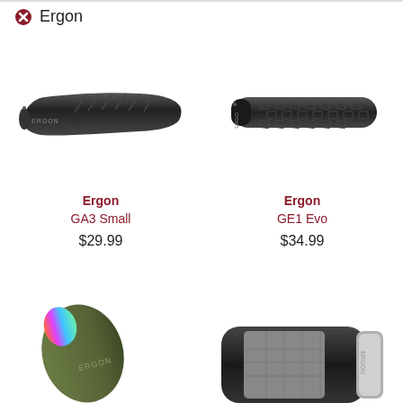Ergon
[Figure (photo): Ergon GA3 Small bicycle handlebar grip, black, ergonomic shape, side view]
[Figure (photo): Ergon GE1 Evo bicycle handlebar grip, black, cylindrical shape with textured pattern, side view]
Ergon
GA3 Small
$29.99
Ergon
GE1 Evo
$34.99
[Figure (photo): Ergon grip, olive/dark green color with colorful end cap, partial view]
[Figure (photo): Ergon grip, dark body with grey textured section and silver lock ring, partial view]